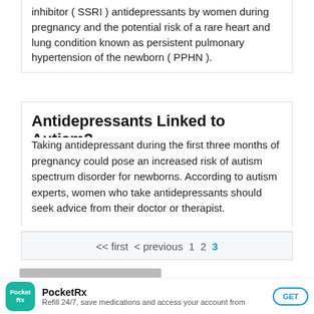inhibitor ( SSRI ) antidepressants by women during pregnancy and the potential risk of a rare heart and lung condition known as persistent pulmonary hypertension of the newborn ( PPHN ).
Antidepressants Linked to Autism?
Taking antidepressant during the first three months of pregnancy could pose an increased risk of autism spectrum disorder for newborns. According to autism experts, women who take antidepressants should seek advice from their doctor or therapist.
<< first  < previous  1  2  3
REFINE
MEDICATIONS
Lexapro
PocketRx
Refill 24/7, save medications and access your account from